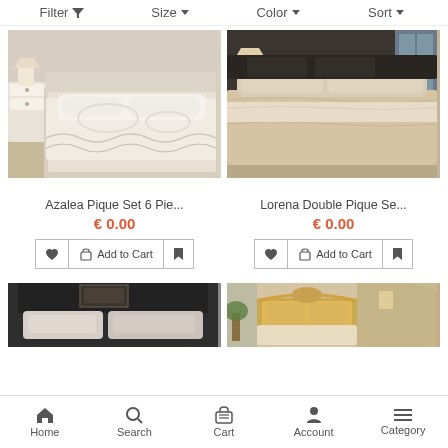Filter  Size  Color  Sort
[Figure (photo): Bed with white lace/pique bedding set on a light wooden floor with white bedside table]
[Figure (photo): Bed with beige/champagne satin pique set in a dark bedroom]
Azalea Pique Set 6 Pie...
€ 0.00
Lorena Double Pique Se...
€ 0.00
[Figure (photo): Partial view of bed with light pink/grey pillows and dark headboard]
[Figure (photo): Partial view of bed with ornate golden/baroque headboard in a decorated room]
Home  Search  Cart  Account  Category